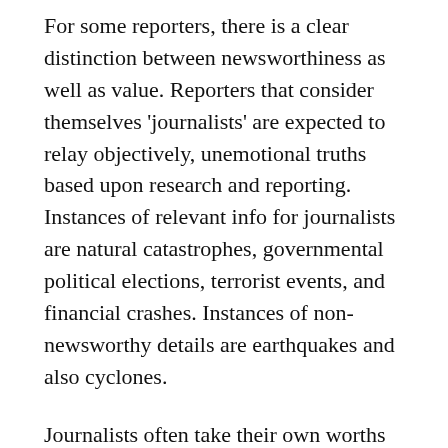For some reporters, there is a clear distinction between newsworthiness as well as value. Reporters that consider themselves 'journalists' are expected to relay objectively, unemotional truths based upon research and reporting. Instances of relevant info for journalists are natural catastrophes, governmental political elections, terrorist events, and financial crashes. Instances of non-newsworthy details are earthquakes and also cyclones.
Journalists often take their own worths right into account when forming their opinion of a tale. This facet of journalism is called 'motif completeness'. Journalists have to determine